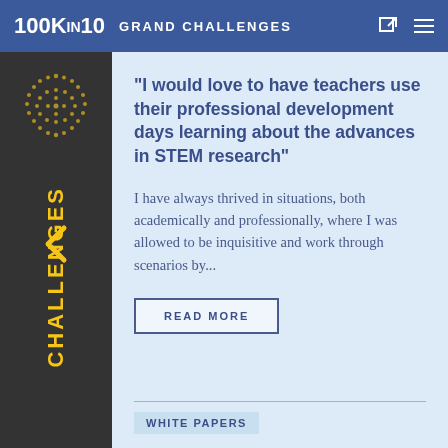100KIN10 GRAND CHALLENGES
"I would love to have teachers use their professional development days learning about the advances in STEM research"
I have always thrived in situations, both academically and professionally, where I was allowed to be inquisitive and work through scenarios by...
READ MORE
WHITE PAPERS